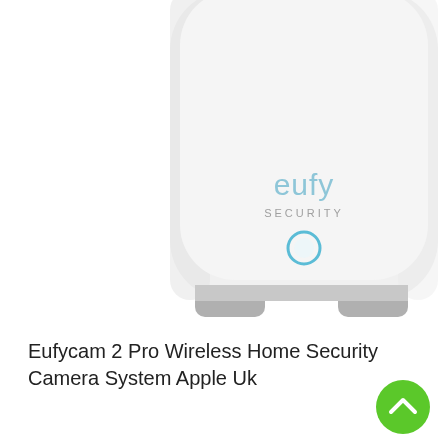[Figure (photo): Close-up product photo of a eufy Security HomeBase device — white cylindrical/rounded rectangular unit with 'eufy SECURITY' text and a blue LED ring on the front, sitting on grey feet, against a white background.]
Eufycam 2 Pro Wireless Home Security Camera System Apple Uk